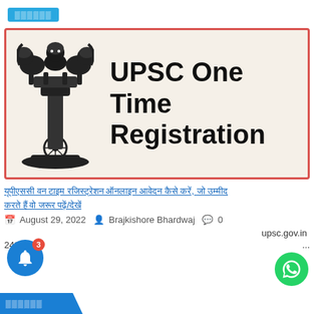oooooo
[Figure (illustration): Ashoka Pillar emblem (India national symbol) on left side with text 'UPSC One Time Registration' in bold black on a beige/cream background, inside a red border box.]
यूपीएससी वन टाइम रजिस्ट्रेशन ऑनलाइन आवेदन कैसे करें, जो उम्मीद करते हैं वो जरूर पढ़ें/देखें
August 29, 2022   Brajkishore Bhardwaj   0
upsc.gov.in
24*7   ...
oooooo